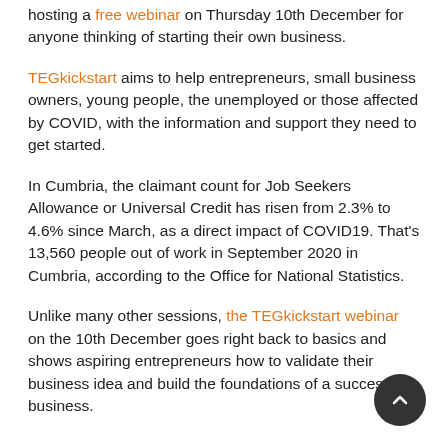hosting a free webinar on Thursday 10th December for anyone thinking of starting their own business.
TEGkickstart aims to help entrepreneurs, small business owners, young people, the unemployed or those affected by COVID, with the information and support they need to get started.
In Cumbria, the claimant count for Job Seekers Allowance or Universal Credit has risen from 2.3% to 4.6% since March, as a direct impact of COVID19. That's 13,560 people out of work in September 2020 in Cumbria, according to the Office for National Statistics.
Unlike many other sessions, the TEGkickstart webinar on the 10th December goes right back to basics and shows aspiring entrepreneurs how to validate their business idea and build the foundations of a successful business.